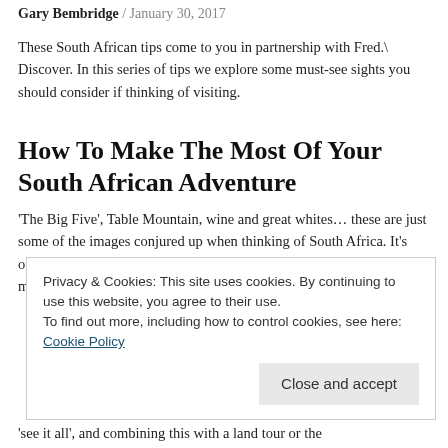Gary Bembridge / January 30, 2017
These South African tips come to you in partnership with Fred.\ Discover. In this series of tips we explore some must-see sights you should consider if thinking of visiting.
How To Make The Most Of Your South African Adventure
'The Big Five', Table Mountain, wine and great whites… these are just some of the images conjured up when thinking of South Africa. It's often hard to choose which of the country's star attractions you should make time for when planning
Privacy & Cookies: This site uses cookies. By continuing to use this website, you agree to their use.
To find out more, including how to control cookies, see here: Cookie Policy
'see it all', and combining this with a land tour or the